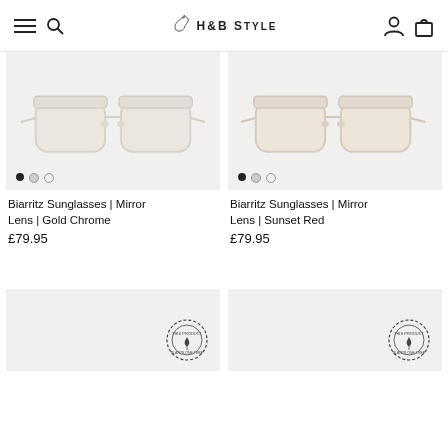H&B Style
[Figure (photo): Biarritz Sunglasses Mirror Lens Gold Chrome - front view on light grey background with carousel dots]
Biarritz Sunglasses | Mirror Lens | Gold Chrome
£79.95
[Figure (photo): Biarritz Sunglasses Mirror Lens Sunset Red - front view on light grey background with carousel dots]
Biarritz Sunglasses | Mirror Lens | Sunset Red
£79.95
[Figure (photo): Partial product image with circular stamp badge at bottom right]
[Figure (photo): Partial product image with circular stamp badge at bottom right]